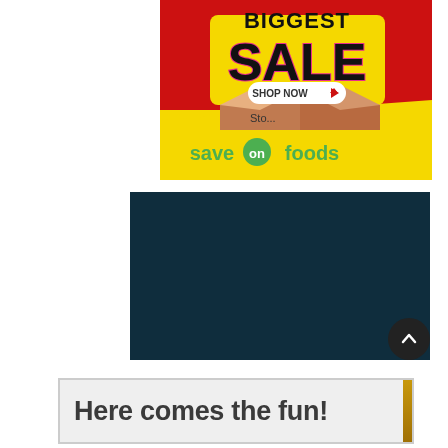[Figure (illustration): Save On Foods promotional banner showing a sale advertisement with red background, yellow bottom section, a cardboard box, 'SALE' text in yellow with pink outline, 'SHOP NOW' button with arrow, 'Stock...' partially visible text, and the Save On Foods logo with green circle]
[Figure (screenshot): Dark navy/teal colored video or content block placeholder]
Here comes the fun!